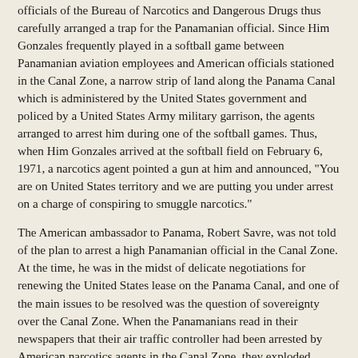officials of the Bureau of Narcotics and Dangerous Drugs thus carefully arranged a trap for the Panamanian official. Since Him Gonzales frequently played in a softball game between Panamanian aviation employees and American officials stationed in the Canal Zone, a narrow strip of land along the Panama Canal which is administered by the United States government and policed by a United States Army military garrison, the agents arranged to arrest him during one of the softball games. Thus, when Him Gonzales arrived at the softball field on February 6, 1971, a narcotics agent pointed a gun at him and announced, "You are on United States territory and we are putting you under arrest on a charge of conspiring to smuggle narcotics."
The American ambassador to Panama, Robert Savre, was not told of the plan to arrest a high Panamanian official in the Canal Zone. At the time, he was in the midst of delicate negotiations for renewing the United States lease on the Panama Canal, and one of the main issues to be resolved was the question of sovereignty over the Canal Zone. When the Panamanians read in their newspapers that their air traffic controller had been arrested by American narcotics agents in the Canal Zone, they exploded, Ambassador Sayre later recalled. The Panamanian negotiators demanded that Him Gonzales be released and that American police control in the Canal Zone be limited and put under the supervision of Panamanians. Suddenly the whole Panama Canal treaty was